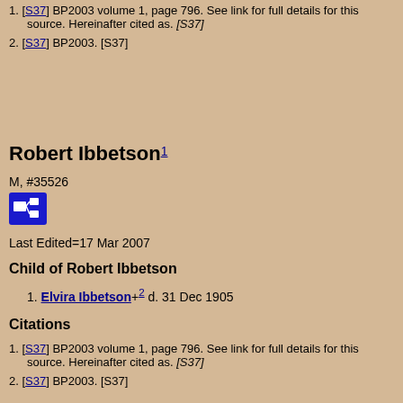1. [S37] BP2003 volume 1, page 796. See link for full details for this source. Hereinafter cited as. [S37]
2. [S37] BP2003. [S37]
Robert Ibbetson
M, #35526
Last Edited=17 Mar 2007
Child of Robert Ibbetson
1. Elvira Ibbetson +2 d. 31 Dec 1905
Citations
1. [S37] BP2003 volume 1, page 796. See link for full details for this source. Hereinafter cited as. [S37]
2. [S37] BP2003. [S37]